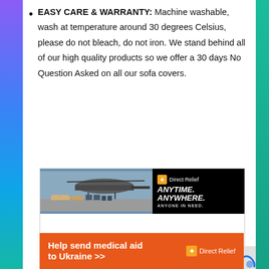EASY CARE & WARRANTY: Machine washable, wash at temperature around 30 degrees Celsius, please do not bleach, do not iron. We stand behind all of our high quality products so we offer a 30 days No Question Asked on all our sofa covers.
[Figure (screenshot): Direct Relief advertisement banner showing helicopter loading scene with text ANYTIME. ANYWHERE. ANYONE IN NEED.]
[Figure (infographic): Orange banner advertisement: Help send medical aid to Ukraine >> with Direct Relief logo]